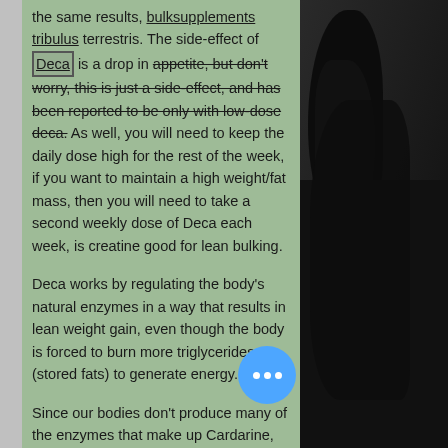the same results, bulksupplements tribulus terrestris. The side-effect of Deca is a drop in appetite, but don't worry, this is just a side-effect, and has been reported to be only with low-dose deca. As well, you will need to keep the daily dose high for the rest of the week, if you want to maintain a high weight/fat mass, then you will need to take a second weekly dose of Deca each week, is creatine good for lean bulking.
Deca works by regulating the body's natural enzymes in a way that results in lean weight gain, even though the body is forced to burn more triglycerides (stored fats) to generate energy.
Since our bodies don't produce many of the enzymes that make up Cardarine, we need to have our body made of a few extra enzymes to produce this important nutrient, bulk greens powder.
[Figure (photo): Black and white photo of a person with long dark hair, appearing on the right side of the page.]